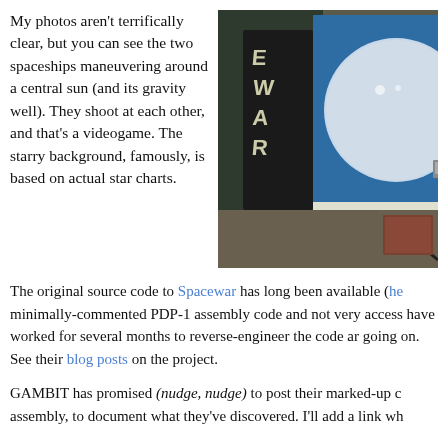My photos aren't terrifically clear, but you can see the two spaceships maneuvering around a central sun (and its gravity well). They shoot at each other, and that's a videogame. The starry background, famously, is based on actual star charts.
[Figure (photo): Photo of a blue arcade cabinet or display showing a circular screen (Spacewar! game), with 'EWAR' written on a chalkboard in the background. A person in dark clothing is partially visible.]
The original source code to Spacewar has long been available (he minimally-commented PDP-1 assembly code and not very access have worked for several months to reverse-engineer the code ar going on. See their blog posts on the project.
GAMBIT has promised (nudge, nudge) to post their marked-up c assembly, to document what they've discovered. I'll add a link wh